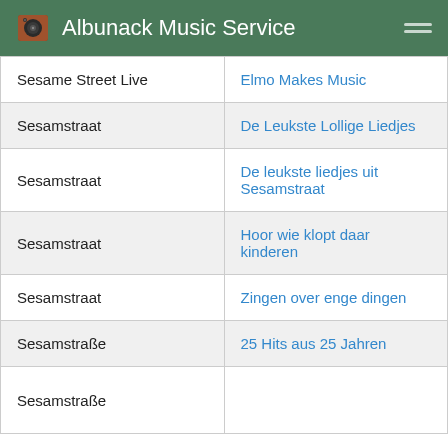Albunack Music Service
| Artist | Album |
| --- | --- |
| Sesame Street Live | Elmo Makes Music |
| Sesamstraat | De Leukste Lollige Liedjes |
| Sesamstraat | De leukste liedjes uit Sesamstraat |
| Sesamstraat | Hoor wie klopt daar kinderen |
| Sesamstraat | Zingen over enge dingen |
| Sesamstraße | 25 Hits aus 25 Jahren |
| Sesamstraße |  |